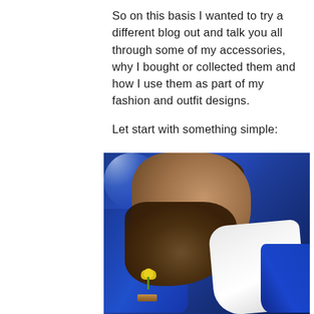So on this basis I wanted to try a different blog out and talk you all through some of my accessories, why I bought or collected them and how I use them as part of my fashion and outfit designs.
Let start with something simple:
[Figure (photo): Close-up photo of a bearded man wearing a bright blue blazer jacket over a white t-shirt, with a yellow flower boutonniere held by a wooden clip on the lapel. The photo is taken from below showing the man's chin, beard, and chest area.]